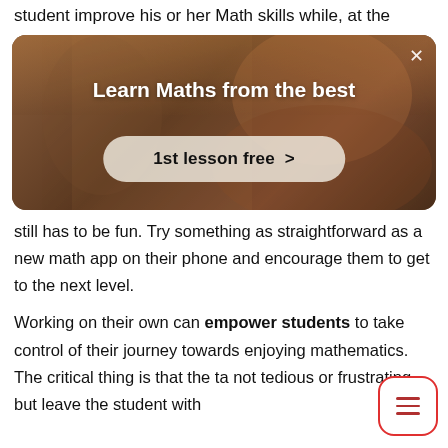student improve his or her Math skills while, at the
[Figure (screenshot): Advertisement banner showing a person writing on a board, with text 'Learn Maths from the best' and a button '1st lesson free >']
still has to be fun. Try something as straightforward as a new math app on their phone and encourage them to get to the next level.
Working on their own can empower students to take control of their journey towards enjoying mathematics. The critical thing is that the ta not tedious or frustrating but leave the student with